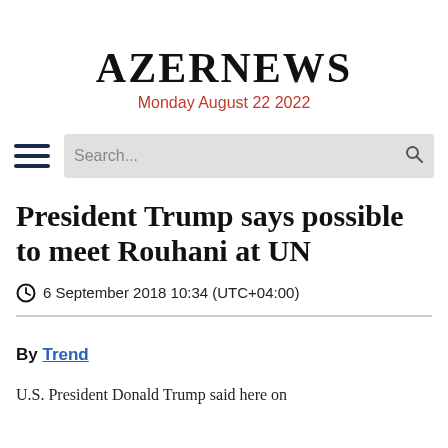AZERNEWS
Monday August 22 2022
President Trump says possible to meet Rouhani at UN
6 September 2018 10:34 (UTC+04:00)
By Trend
U.S. President Donald Trump said here on